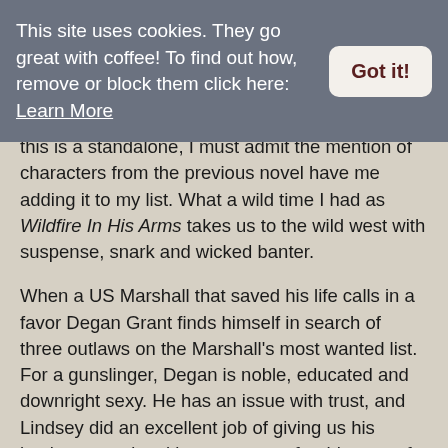This site uses cookies. They go great with coffee! To find out how, remove or block them click here: Learn More
this is a standalone, I must admit the mention of characters from the previous novel have me adding it to my list. What a wild time I had as Wildfire In His Arms takes us to the wild west with suspense, snark and wicked banter.
When a US Marshall that saved his life calls in a favor Degan Grant finds himself in search of three outlaws on the Marshall's most wanted list. For a gunslinger, Degan is noble, educated and downright sexy. He has an issue with trust, and Lindsey did an excellent job of giving us his backstory and making me swoon for this man of few words. Men and women fear him that is unless they want to try to outdraw him.
What he thinks will be his easiest apprehension